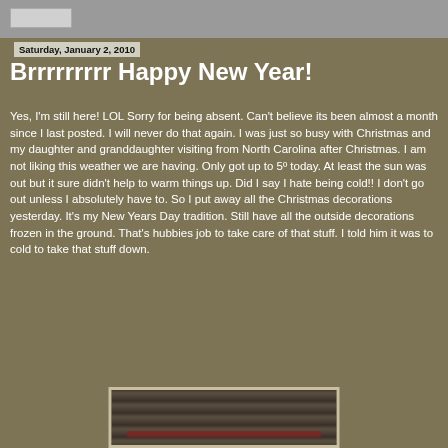Saturday, January 2, 2010
Brrrrrrrrr Happy New Year!
Yes, I'm still here! LOL Sorry for being absent. Can't believe its been almost a month since I last posted. I will never do that again. I was just so busy with Christmas and my daughter and granddaughter visiting from North Carolina after Christmas. I am not liking this weather we are having. Only got up to 5º today. At least the sun was out but it sure didn't help to warm things up. Did I say I hate being cold!! I don't go out unless I absolutely have to. So I put away all the Christmas decorations yesterday. It's my New Years Day tradition. Still have all the outside decorations frozen in the ground. That's hubbies job to take care of that stuff. I told him it was to cold to take that stuff down.
[Figure (photo): Photo of outdoor Christmas decorations on a wooden fence, partially visible at bottom of page]